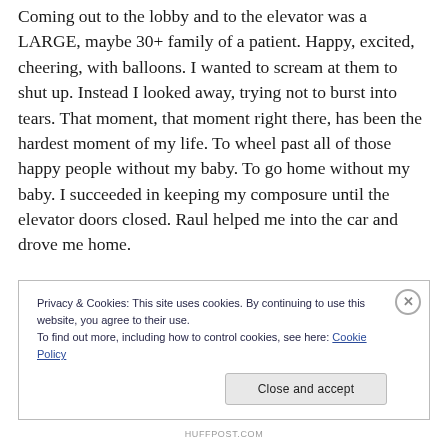Coming out to the lobby and to the elevator was a LARGE, maybe 30+ family of a patient. Happy, excited, cheering, with balloons. I wanted to scream at them to shut up. Instead I looked away, trying not to burst into tears. That moment, that moment right there, has been the hardest moment of my life. To wheel past all of those happy people without my baby. To go home without my baby. I succeeded in keeping my composure until the elevator doors closed. Raul helped me into the car and drove me home.
Privacy & Cookies: This site uses cookies. By continuing to use this website, you agree to their use.
To find out more, including how to control cookies, see here: Cookie Policy
HUFFPOST.COM